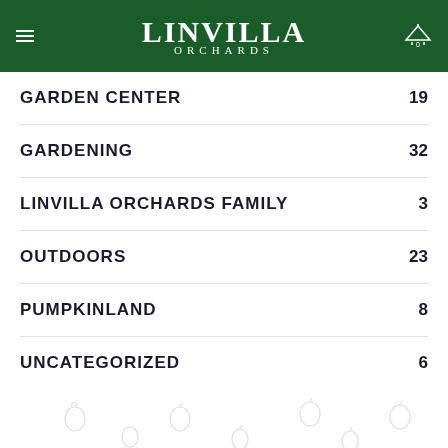LINVILLA ORCHARDS
GARDEN CENTER  19
GARDENING  32
LINVILLA ORCHARDS FAMILY  3
OUTDOORS  23
PUMPKINLAND  8
UNCATEGORIZED  6
[Figure (photo): Interior of Linvilla Orchards store showing wooden paneling and ceiling lights]